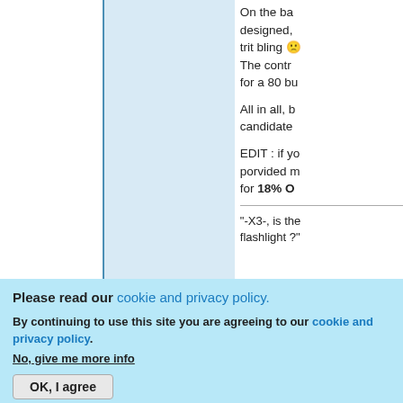On the ba designed, trit bling 🙁 The contro for a 80 bu
All in all, b candidate
EDIT : if yo porvided m for 18% O
"-X3-, is the flashlight ?"
Please read our cookie and privacy policy.
By continuing to use this site you are agreeing to our cookie and privacy policy. No, give me more info
OK, I agree